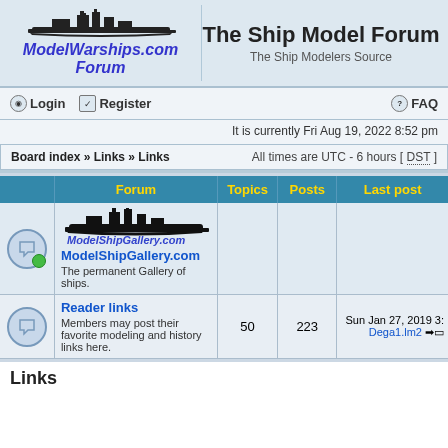[Figure (logo): ModelWarships.com Forum logo with ship silhouette above italic blue text]
The Ship Model Forum
The Ship Modelers Source
Login   Register   FAQ
It is currently Fri Aug 19, 2022 8:52 pm
Board index » Links » Links    All times are UTC - 6 hours [ DST ]
| Forum | Topics | Posts | Last post |
| --- | --- | --- | --- |
| ModelShipGallery.com / The permanent Gallery of ships. |  |  |  |
| Reader links / Members may post their favorite modeling and history links here. | 50 | 223 | Sun Jan 27, 2019 3:... Dega1.lm2 → |
Links